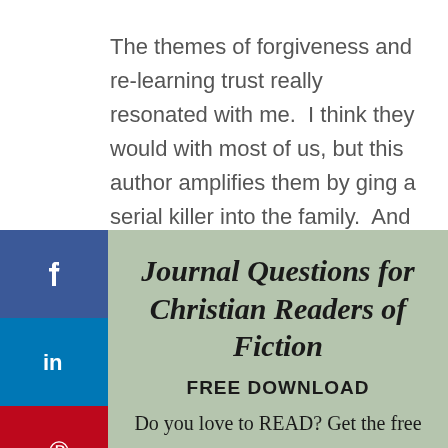The themes of forgiveness and re-learning trust really resonated with me.  I think they would with most of us, but this author amplifies them by ging a serial killer into the family.  And this y kept me on my toes! I didn't figure out the omplice until the last minute, and then I ually felt pity.
[Figure (infographic): Social media sharing sidebar with buttons for Facebook (blue), LinkedIn (blue), Pinterest (red), Twitter (light blue), and Email (gray), each showing the platform icon in white.]
Journal Questions for Christian Readers of Fiction
FREE DOWNLOAD
Do you love to READ? Get the free